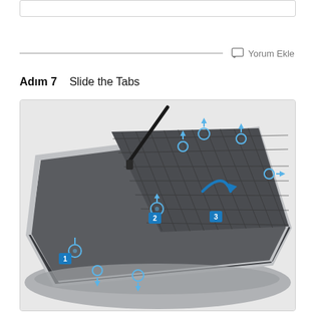[Figure (screenshot): Top border box element from previous step]
Yorum Ekle
Adım 7    Slide the Tabs
[Figure (photo): Photo of a wireless router/device showing numbered tabs (1,2,3) with blue arrows indicating upward sliding motion on tabs around the device perimeter. A black antenna is visible at the top left. Blue circular markers with numbers highlight the tab locations.]